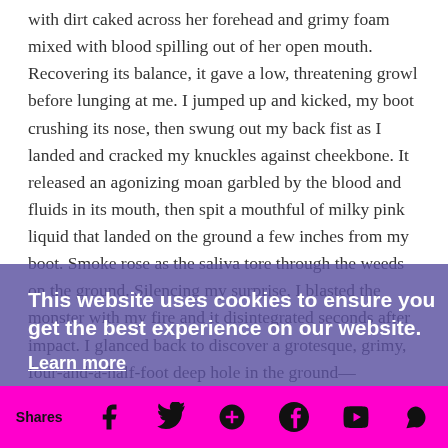with dirt caked across her forehead and grimy foam mixed with blood spilling out of her open mouth. Recovering its balance, it gave a low, threatening growl before lunging at me. I jumped up and kicked, my boot crushing its nose, then swung out my back fist as I landed and cracked my knuckles against cheekbone. It released an agonizing moan garbled by the blood and fluids in its mouth, then spit a mouthful of milky pink liquid that landed on the ground a few inches from my boot. Smoke rose as the saliva tore through the weeds on the ground. Silencing my surprise, I blasted the monster with my fire and it disintegrated seconds after impact. I glanced back to discover a grotesque, grimy, four-and-a-half-foot deep hole in the ground—
This website uses cookies to ensure you get the best experience on our website.
Learn more
about what I'd just seen, I surveyed my surroundings. There were only a few of those creature-things left. Tristan was battling one of them, still using his arm as a
Got it!
Shares  [Facebook] [Twitter] [Google+] [Pinterest] [Tumblr] [Other]